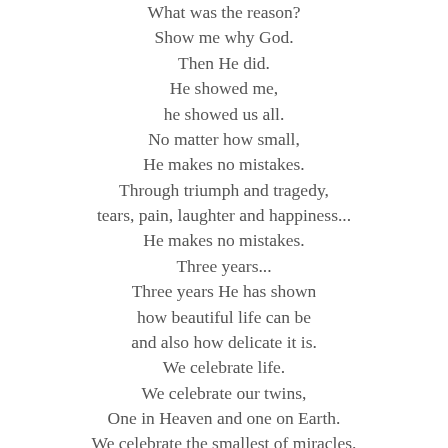What was the reason?
Show me why God.
Then He did.
He showed me,
he showed us all.
No matter how small,
He makes no mistakes.
Through triumph and tragedy,
tears, pain, laughter and happiness...
He makes no mistakes.
Three years...
Three years He has shown
how beautiful life can be
and also how delicate it is.
We celebrate life.
We celebrate our twins,
One in Heaven and one on Earth.
We celebrate the smallest of miracles.
We celebrate the accomplishments, the struggles,
the smiles and the painful tears.
Life is a struggle.
Its not easy
not knowing...